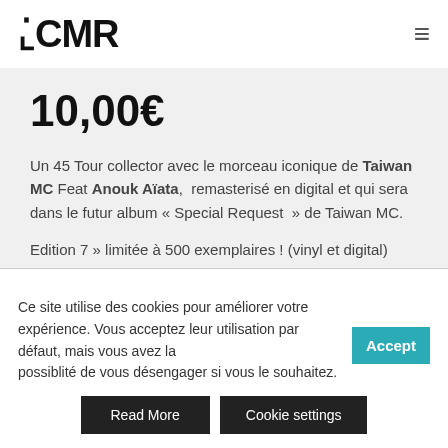TACMR
10,00€
Un 45 Tour collector avec le morceau iconique de Taiwan MC Feat Anouk Aïata, remasterisé en digital et qui sera dans le futur album « Special Request » de Taiwan MC.
Edition 7 » limitée à 500 exemplaires ! (vinyl et digital)
Ce site utilise des cookies pour améliorer votre expérience. Vous acceptez leur utilisation par défaut, mais vous avez la possiblité de vous désengager si vous le souhaitez.
Read More
Cookie settings